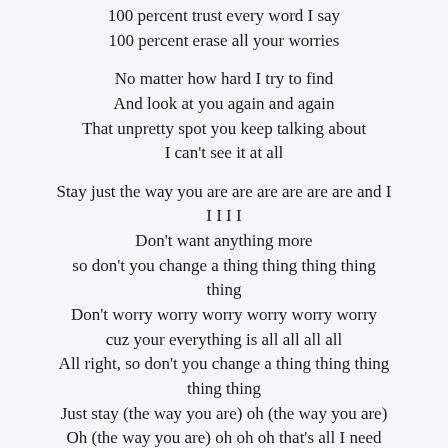100 percent trust every word I say
100 percent erase all your worries
No matter how hard I try to find
And look at you again and again
That unpretty spot you keep talking about
I can't see it at all
Stay just the way you are are are are are are and I
I I I I
Don't want anything more
so don't you change a thing thing thing thing thing
Don't worry worry worry worry worry worry
cuz your everything is all all all all
All right, so don't you change a thing thing thing thing thing
Just stay (the way you are) oh (the way you are)
Oh (the way you are) oh oh oh that's all I need